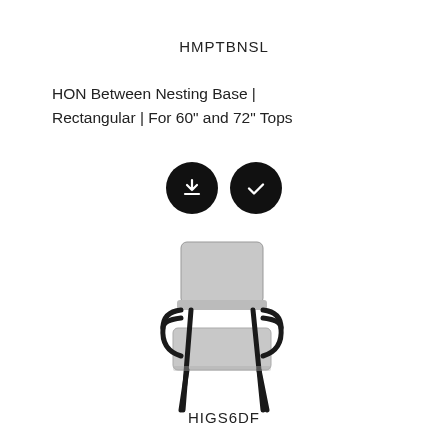HMPTBNSL
HON Between Nesting Base | Rectangular | For 60" and 72" Tops
[Figure (illustration): Two black circular icon buttons: one with a download arrow icon, one with a checkmark icon]
[Figure (photo): A gray upholstered guest/side chair with black tubular steel frame and armrests, shown in 3/4 view against white background]
HIGS6DF